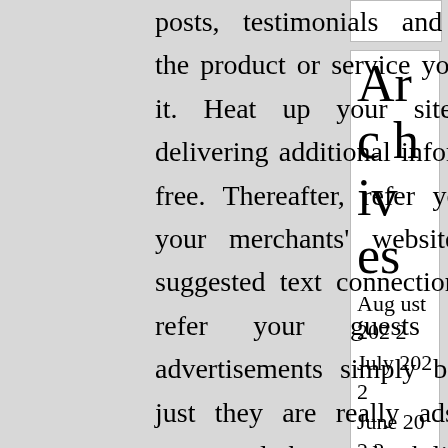posts, testimonials and testimonials in the product or service you're selling on it. Heat up your site visitors by delivering additional information totally free. Thereafter, refer your people in your merchants' websites with your suggested text connection. Also, never refer your guests by banner advertisements simply because simply just they are really ads. Refer your guests only by text back links.

Internet affiliate marketing
Archives
August 2022
July 2022
June 2022